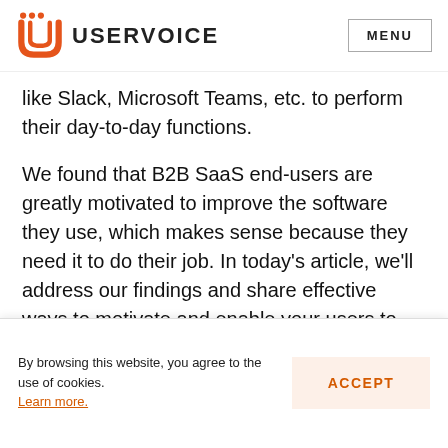USERVOICE  MENU
like Slack, Microsoft Teams, etc. to perform their day-to-day functions.
We found that B2B SaaS end-users are greatly motivated to improve the software they use, which makes sense because they need it to do their job. In today's article, we'll address our findings and share effective ways to motivate and enable your users to provide feedback. We'll walk
By browsing this website, you agree to the use of cookies. Learn more.
ACCEPT